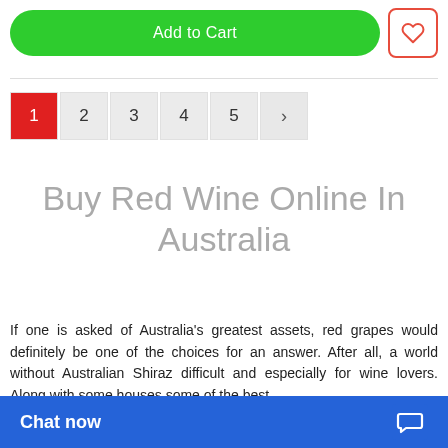[Figure (other): Add to Cart green button with heart/wishlist icon button on the right]
[Figure (other): Pagination bar showing pages 1 (active, red), 2, 3, 4, 5, and next arrow]
Buy Red Wine Online In Australia
If one is asked of Australia's greatest assets, red grapes would definitely be one of the choices for an answer. After all, a world without Australian Shiraz difficult and especially for wine lovers. Along with some houses some of the best
[Figure (other): Chat now blue floating bar at the bottom with chat bubble icon]